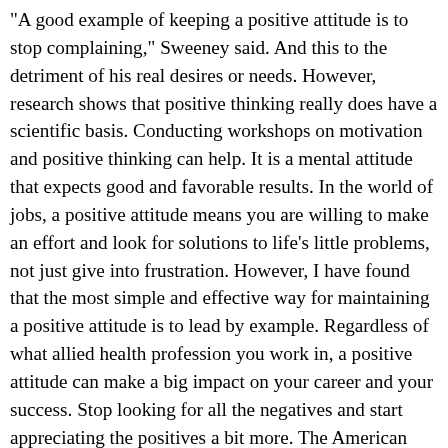"A good example of keeping a positive attitude is to stop complaining," Sweeney said. And this to the detriment of his real desires or needs. However, research shows that positive thinking really does have a scientific basis. Conducting workshops on motivation and positive thinking can help. It is a mental attitude that expects good and favorable results. In the world of jobs, a positive attitude means you are willing to make an effort and look for solutions to life’s little problems, not just give into frustration. However, I have found that the most simple and effective way for maintaining a positive attitude is to lead by example. Regardless of what allied health profession you work in, a positive attitude can make a big impact on your career and your success. Stop looking for all the negatives and start appreciating the positives a bit more. The American College for Medical Careers (ACMC) knows how a positive attitude can brighten a student’s day and help them make the most out of their educational experience. Rather than “I need to take three credits to graduate,” use a positive You Attitude, for example, “I am a senior student eager to contribute positively to this class.” Rewrite: Emphasizing benefits